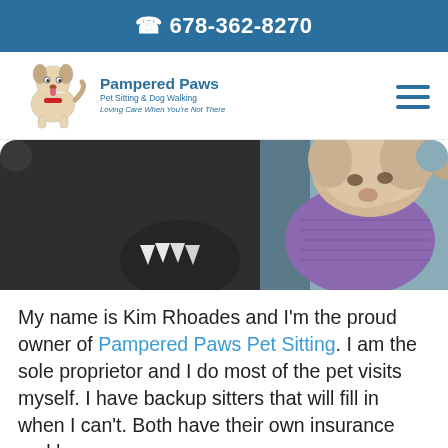678-362-8270
[Figure (logo): Pampered Paws Pet Sitting & Dog Walking logo with cartoon dog illustration and tagline 'Loving Care When You're Not There']
[Figure (photo): Photo of a small fluffy dog wearing a purple sweater being held by a person in a dark hoodie]
My name is Kim Rhoades and I'm the proud owner of Pampered Paws Pet Sitting. I am the sole proprietor and I do most of the pet visits myself. I have backup sitters that will fill in when I can't. Both have their own insurance and have